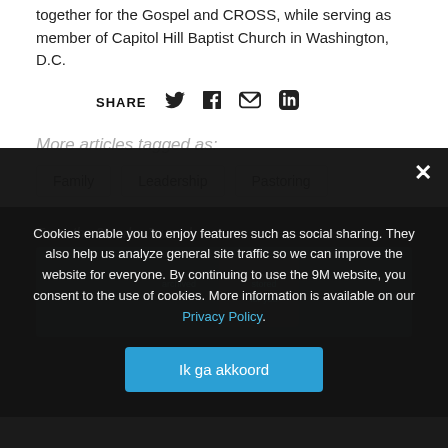together for the Gospel and CROSS, while serving as member of Capitol Hill Baptist Church in Washington, D.C.
SHARE [twitter] [facebook] [email] [print]
More articles tagged as:
Family
Leadership
Pastoring
From the 9Marks Journal:
[Figure (other): Dark section with book cover image showing 'stored for you' text]
Cookies enable you to enjoy features such as social sharing. They also help us analyze general site traffic so we can improve the website for everyone. By continuing to use the 9M website, you consent to the use of cookies. More information is available on our Privacy Policy.
Ik ga akkoord